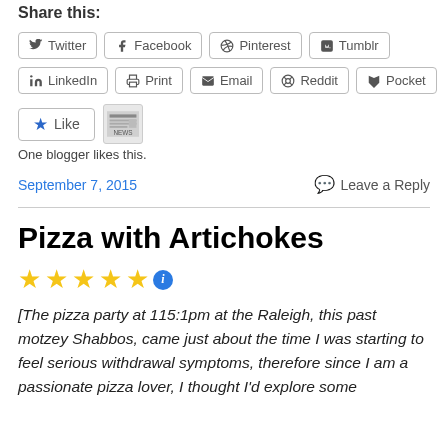Share this:
[Figure (other): Social share buttons row 1: Twitter, Facebook, Pinterest, Tumblr]
[Figure (other): Social share buttons row 2: LinkedIn, Print, Email, Reddit, Pocket]
[Figure (other): Like button and news avatar icon]
One blogger likes this.
September 7, 2015
Leave a Reply
Pizza with Artichokes
[Figure (other): Five gold stars rating with info icon]
[The pizza party at 115:1pm at the Raleigh, this past motzey Shabbos, came just about the time I was starting to feel serious withdrawal symptoms, therefore since I am a passionate pizza lover, I thought I'd explore some